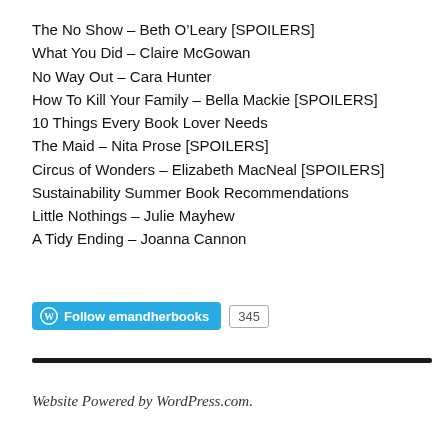The No Show – Beth O'Leary [SPOILERS]
What You Did – Claire McGowan
No Way Out – Cara Hunter
How To Kill Your Family – Bella Mackie [SPOILERS]
10 Things Every Book Lover Needs
The Maid – Nita Prose [SPOILERS]
Circus of Wonders – Elizabeth MacNeal [SPOILERS]
Sustainability Summer Book Recommendations
Little Nothings – Julie Mayhew
A Tidy Ending – Joanna Cannon
[Figure (other): WordPress Follow button for emandherbooks with follower count badge showing 345]
Website Powered by WordPress.com.